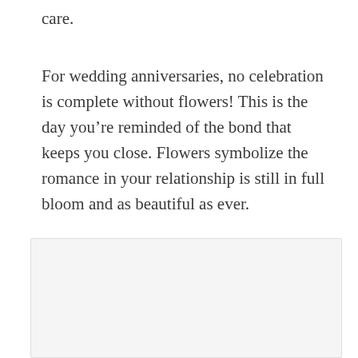care.
For wedding anniversaries, no celebration is complete without flowers! This is the day you’re reminded of the bond that keeps you close. Flowers symbolize the romance in your relationship is still in full bloom and as beautiful as ever.
[Figure (photo): A blank/white image placeholder box with light gray background and border]